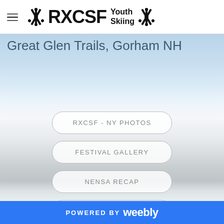RXCSF Youth Skiing
Great Glen Trails, Gorham NH
RXCSF - NY PHOTOS
FESTIVAL GALLERY
NENSA RECAP
RESULTS
POWERED BY weebly